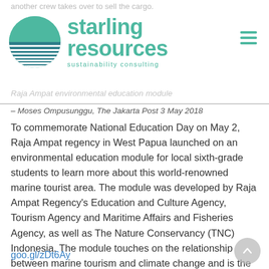another crew takes over to sell the cargo.
[Figure (logo): Starling Resources sustainability consulting logo — circle with teal horizontal stripes and teal text]
Raja Ampat environmental education module
– Moses Ompusunggu, The Jakarta Post 3 May 2018
To commemorate National Education Day on May 2, Raja Ampat regency in West Papua launched on an environmental education module for local sixth-grade students to learn more about this world-renowned marine tourist area. The module was developed by Raja Ampat Regency's Education and Culture Agency, Tourism Agency and Maritime Affairs and Fisheries Agency, as well as The Nature Conservancy (TNC) Indonesia. The module touches on the relationship between marine tourism and climate change and is the latest document launched for Raja Ampat's students, following the opening of two earlier modules on the same topic for fourth-grade and fifth-grade students in 2016.
goo.gl/zDt6Ay